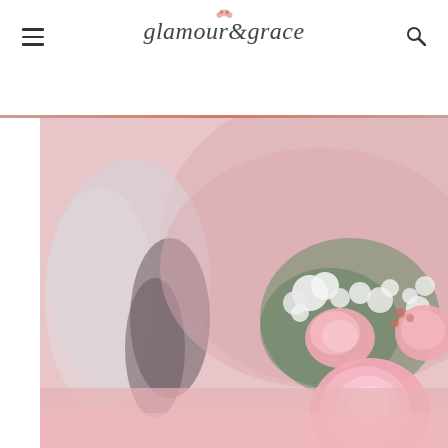glamour & grace
[Figure (photo): Close-up photograph of a pink rose and baby's breath floral arrangement on a pink tablecloth, with blurred white chair covers and pink table linens in the background, wedding reception setting]